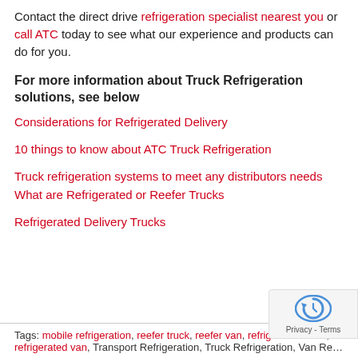Contact the direct drive refrigeration specialist nearest you or call ATC today to see what our experience and products can do for you.
For more information about Truck Refrigeration solutions, see below
Considerations for Refrigerated Delivery
10 things to know about ATC Truck Refrigeration
Truck refrigeration systems to meet any distributors needs
What are Refrigerated or Reefer Trucks
Refrigerated Delivery Trucks
Tags: mobile refrigeration, reefer truck, reefer van, refrigerated truck, refrigerated van, Transport Refrigeration, Truck Refrigeration, Van Re...